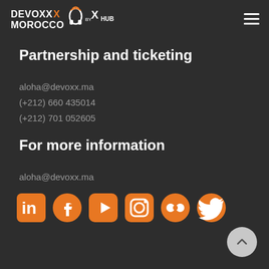Devoxx Morocco by XHub — navigation header
Partnership and ticketing
aloha@devoxx.ma
(+212) 660 435014
(+212) 701 052605
For more information
aloha@devoxx.ma
[Figure (infographic): Social media icons in orange: LinkedIn, Facebook, YouTube, Instagram, Flickr, Twitter]